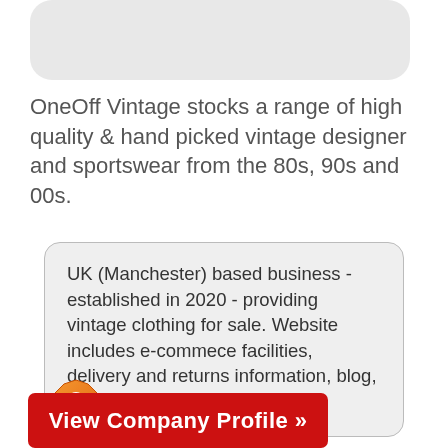[Figure (other): Rounded rectangle placeholder image area at top]
OneOff Vintage stocks a range of high quality & hand picked vintage designer and sportswear from the 80s, 90s and 00s.
UK (Manchester) based business - established in 2020 - providing vintage clothing for sale. Website includes e-commece facilities, delivery and returns information, blog, testimonials, full contact details.
[Figure (logo): fashionlistings.org orange badge/logo icon with review label]
fashionlistings.org review
View Company Profile »